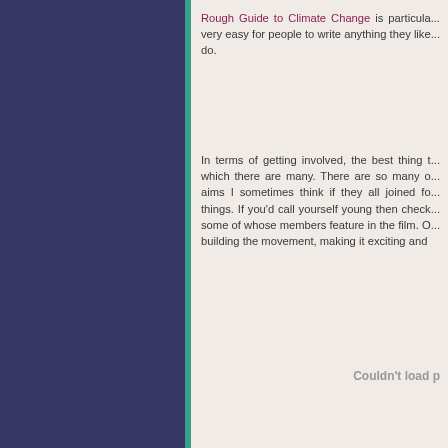Rough Guide to Climate Change is particula... very easy for people to write anything they like... do.
In terms of getting involved, the best thing t... which there are many. There are so many o... aims I sometimes think if they all joined fo... things. If you'd call yourself young then check... some of whose members feature in the film. O... building the movement, making it exciting and...
Couldn't load p